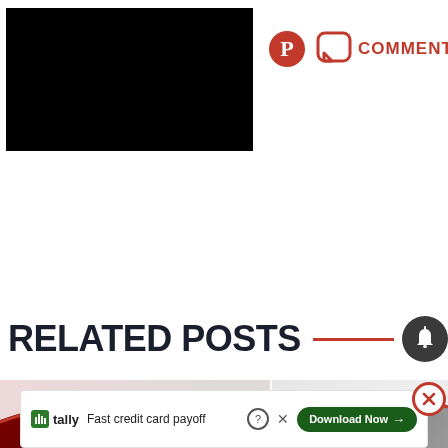[Figure (screenshot): Black rectangle representing a video or image placeholder in the top-left area]
[Figure (screenshot): Pinterest logo (red circle with P) and a speech bubble comment icon with red 'COMMENTS' text to the right]
RELATED POSTS
[Figure (screenshot): Partial sports/event photo thumbnails at the bottom with a red wave design element and a dark bell notification button]
[Figure (screenshot): Advertisement banner: Tally logo, 'Fast credit card payoff', Download Now button, close X button]